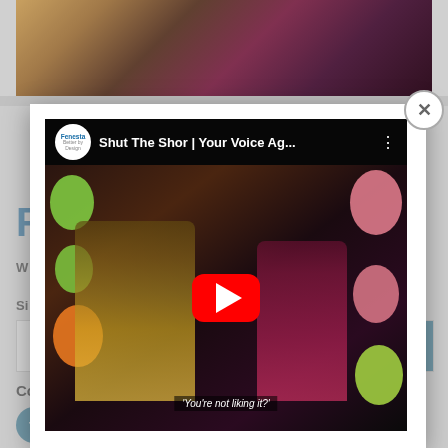[Figure (photo): Party scene photo showing two people with colorful costumes and flower leis at the top of the page]
[Figure (screenshot): YouTube video modal overlay showing Fenesta branded video titled 'Shut The Shor | Your Voice Ag...' with play button, balloons in background, and subtitle 'You're not liking it?'. Close button (X) in top right corner.]
F
W
Si
Connect With Us
[Figure (infographic): Social media icons: Facebook, Twitter, YouTube, Instagram in teal circles]